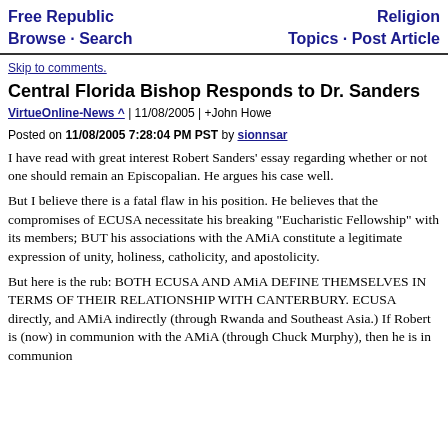Free Republic Browse · Search | Religion Topics · Post Article
Skip to comments.
Central Florida Bishop Responds to Dr. Sanders
VirtueOnline-News ^ | 11/08/2005 | +John Howe
Posted on 11/08/2005 7:28:04 PM PST by sionnsar
I have read with great interest Robert Sanders' essay regarding whether or not one should remain an Episcopalian. He argues his case well.
But I believe there is a fatal flaw in his position. He believes that the compromises of ECUSA necessitate his breaking "Eucharistic Fellowship" with its members; BUT his associations with the AMiA constitute a legitimate expression of unity, holiness, catholicity, and apostolicity.
But here is the rub: BOTH ECUSA AND AMiA DEFINE THEMSELVES IN TERMS OF THEIR RELATIONSHIP WITH CANTERBURY. ECUSA directly, and AMiA indirectly (through Rwanda and Southeast Asia.) If Robert is (now) in communion with the AMiA (through Chuck Murphy), then he is in communion